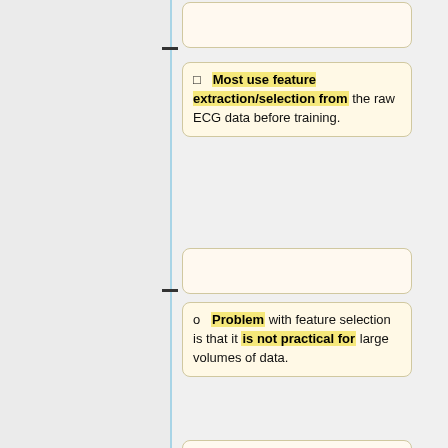□  Most use feature extraction/selection from the raw ECG data before training.
o  Problem with feature selection is that it is not practical for large volumes of data.
□  Other papers that do not use feature selection...